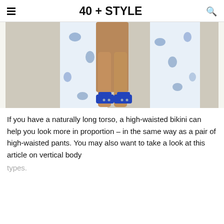40 + STYLE
[Figure (photo): Lower body of a person wearing a white and blue floral robe/wrap and blue slide sandals, standing on a light beige floor.]
If you have a naturally long torso, a high-waisted bikini can help you look more in proportion – in the same way as a pair of high-waisted pants. You may also want to take a look at this article on vertical body types.